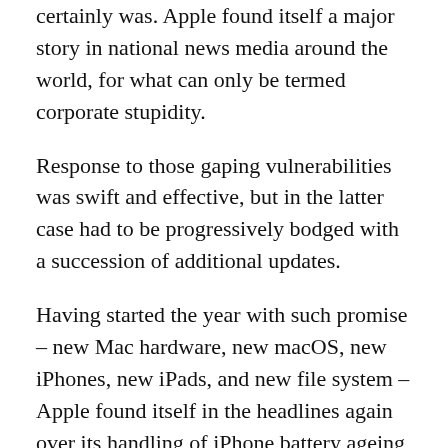certainly was. Apple found itself a major story in national news media around the world, for what can only be termed corporate stupidity.
Response to those gaping vulnerabilities was swift and effective, but in the latter case had to be progressively bodged with a succession of additional updates.
Having started the year with such promise – new Mac hardware, new macOS, new iPhones, new iPads, and new file system – Apple found itself in the headlines again over its handling of iPhone battery ageing problems. It was another case of how Apple may have made the right technical decision, but because it deliberately didn't discuss or even explain what it was doing, it fell short in its customer care. A perfectly reasonable engineering solution was so readily interpreted as an underhand marketing ploy.
There was also a great deal that Apple needed to do